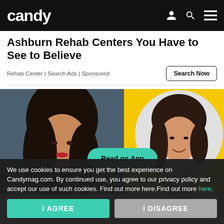candy
Ashburn Rehab Centers You Have to See to Believe
Rehab Center | Search Ads | Sponsored
[Figure (photo): Two women side by side: left is a glamorous woman with long dark hair and red lips on a dark background; right is a smiling woman with a bob haircut in a circle frame on a yellow background. A teal 'Read on App' button overlays the center.]
We use cookies to ensure you get the best experience on Candymag.com. By continued use, you agree to our privacy policy and accept our use of such cookies. Find out more here.Find out more here.
I AGREE
I DISAGREE